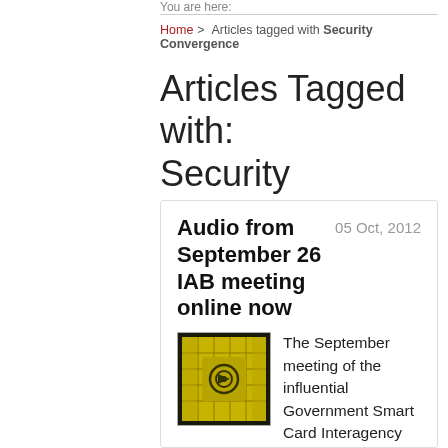You are here:
Home > Articles tagged with Security Convergence
Articles Tagged with: Security Convergence
Audio from September 26 IAB meeting online now
05 Oct, 2012
[Figure (photo): Yellow smart card chip with contactless symbol on dark background]
The September meeting of the influential Government Smart Card Interagency Advisory Board (IAB) was recently held in Washington D.C. FIPS201.com was on hand to cover the event and has provided, as a service to the IAB and the smart card community, an audio